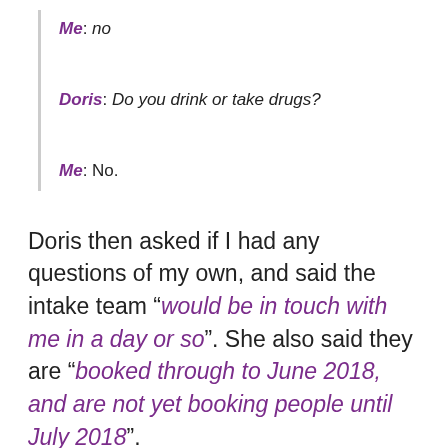Me: no
Doris: Do you drink or take drugs?
Me: No.
Doris then asked if I had any questions of my own, and said the intake team “would be in touch with me in a day or so”. She also said they are “booked through to June 2018, and are not yet booking people until July 2018”.
So, that would eventually take me to the final